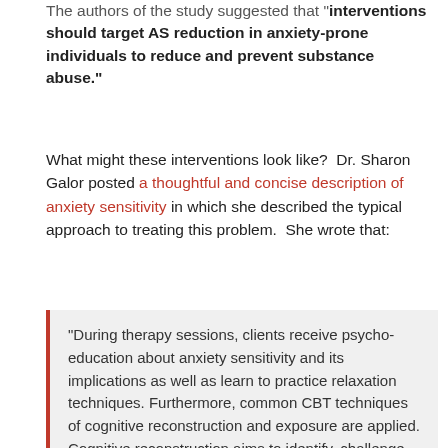The authors of the study suggested that "interventions should target AS reduction in anxiety-prone individuals to reduce and prevent substance abuse."
What might these interventions look like?  Dr. Sharon Galor posted a thoughtful and concise description of anxiety sensitivity in which she described the typical approach to treating this problem.  She wrote that:
"During therapy sessions, clients receive psycho- education about anxiety sensitivity and its implications as well as learn to practice relaxation techniques. Furthermore, common CBT techniques of cognitive reconstruction and exposure are applied. Cognitive reconstruction aims to identify, challenge and reconstruct irrational and catastrophic thoughts that raise anxiety i.e. the belief in the high probability and a high catastrophic level of outcome that the physical symptoms can cause. Exposure helps clients to directly face the fear inducing and stressful stimuli, as well as to learn to eliminate safety behaviors.  Repeated exposure produces habituation that